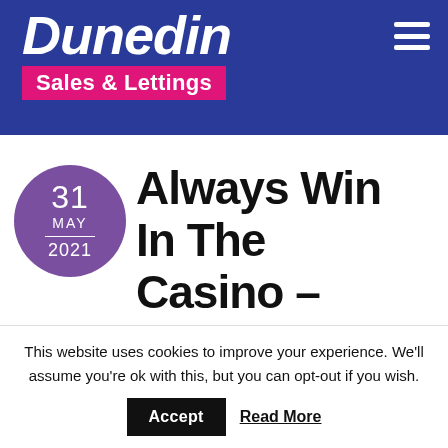[Figure (logo): Dunedin Sales & Lettings logo on blue background with pink/magenta sub-banner, and hamburger menu icon top right]
[Figure (other): Purple circular date badge showing 31 MAY 2021]
Always Win In The Casino –
This website uses cookies to improve your experience. We'll assume you're ok with this, but you can opt-out if you wish.
Accept   Read More